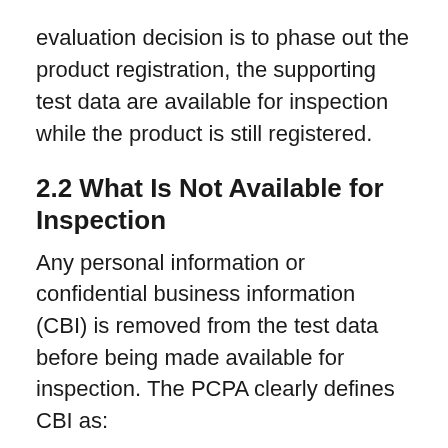evaluation decision is to phase out the product registration, the supporting test data are available for inspection while the product is still registered.
2.2 What Is Not Available for Inspection
Any personal information or confidential business information (CBI) is removed from the test data before being made available for inspection. The PCPA clearly defines CBI as:
manufacturing or quality control processes;